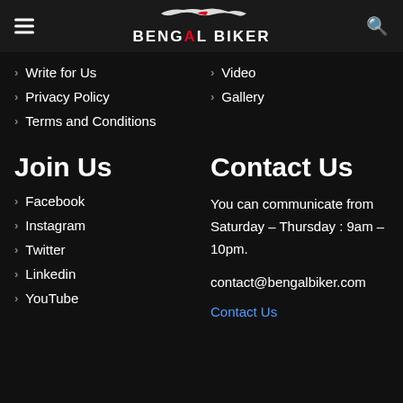Bengal Biker
Write for Us
Video
Privacy Policy
Gallery
Terms and Conditions
Join Us
Contact Us
Facebook
Instagram
Twitter
Linkedin
YouTube
You can communicate from Saturday – Thursday : 9am – 10pm.
contact@bengalbiker.com
Contact Us